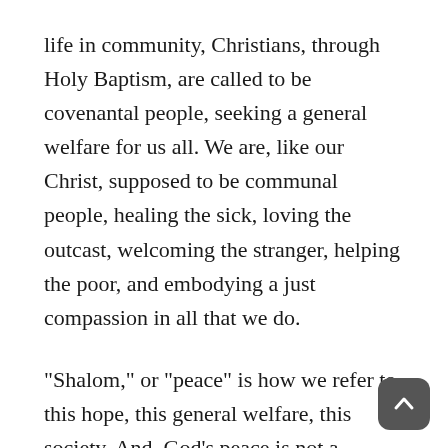life in community, Christians, through Holy Baptism, are called to be covenantal people, seeking a general welfare for us all. We are, like our Christ, supposed to be communal people, healing the sick, loving the outcast, welcoming the stranger, helping the poor, and embodying a just compassion in all that we do.
"Shalom," or "peace" is how we refer to this hope, this general welfare, this society. And, God's peace is not a strained abstention from violence. Rather, God's peace refers to a state of well being, wholeness, and interconnectedness. Yet, our current use of the word "peace" robs it of its robust and full biblical meaning. We have watered it down, made it